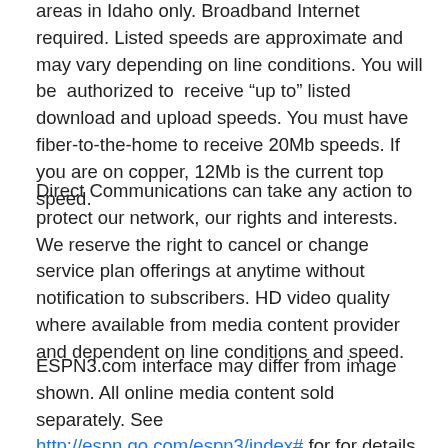areas in Idaho only. Broadband Internet required. Listed speeds are approximate and may vary depending on line conditions. You will be authorized to receive “up to” listed download and upload speeds. You must have fiber-to-the-home to receive 20Mb speeds. If you are on copper, 12Mb is the current top speed.
Direct Communications can take any action to protect our network, our rights and interests. We reserve the right to cancel or change service plan offerings at anytime without notification to subscribers. HD video quality where available from media content provider and dependent on line conditions and speed.
ESPN3.com interface may differ from image shown. All online media content sold separately. See http://espn.go.com/espn3/index# for for details about ESPN3.com service and Terms of Use. Broadband